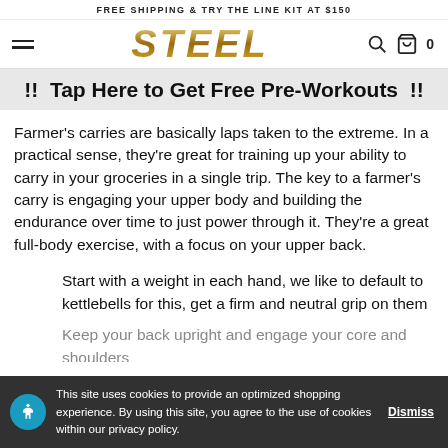FREE SHIPPING & TRY THE LINE KIT AT $150
[Figure (logo): STEEL brand logo in gold italic letters with hamburger menu, search icon, and cart icon (0 items)]
!! Tap Here to Get Free Pre-Workouts !!
Farmer’s carries are basically laps taken to the extreme. In a practical sense, they’re great for training up your ability to carry in your groceries in a single trip. The key to a farmer’s carry is engaging your upper body and building the endurance over time to just power through it. They’re a great full-body exercise, with a focus on your upper back.
Start with a weight in each hand, we like to default to kettlebells for this, get a firm and neutral grip on them
Keep your back upright and engage your core and shoulders
This site uses cookies to provide an optimized shopping experience. By using this site, you agree to the use of cookies within our privacy policy. Dismiss